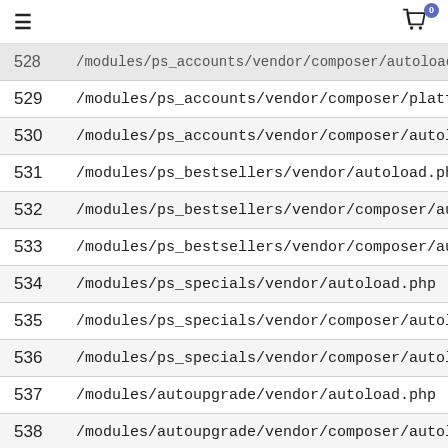≡  [cart icon] 0
528  /modules/ps_accounts/vendor/composer/autoload_real.php
529  /modules/ps_accounts/vendor/composer/platform_check.ph
530  /modules/ps_accounts/vendor/composer/autoload_static.ph
531  /modules/ps_bestsellers/vendor/autoload.php
532  /modules/ps_bestsellers/vendor/composer/autoload_real.ph
533  /modules/ps_bestsellers/vendor/composer/autoload_static.p
534  /modules/ps_specials/vendor/autoload.php
535  /modules/ps_specials/vendor/composer/autoload_real.php
536  /modules/ps_specials/vendor/composer/autoload_static.php
537  /modules/autoupgrade/vendor/autoload.php
538  /modules/autoupgrade/vendor/composer/autoload_real.php
539  /modules/autoupgrade/vendor/composer/autoload_static.ph